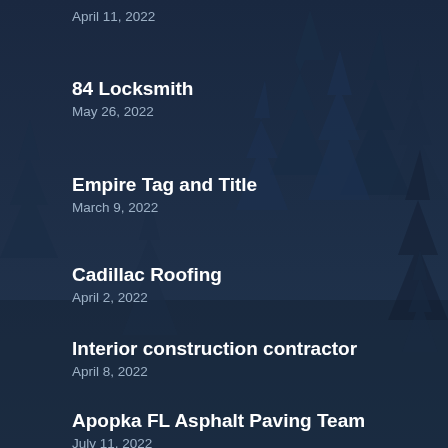April 11, 2022
84 Locksmith
May 26, 2022
Empire Tag and Title
March 9, 2022
Cadillac Roofing
April 2, 2022
Interior construction contractor
April 8, 2022
Apopka FL Asphalt Paving Team
July 11, 2022